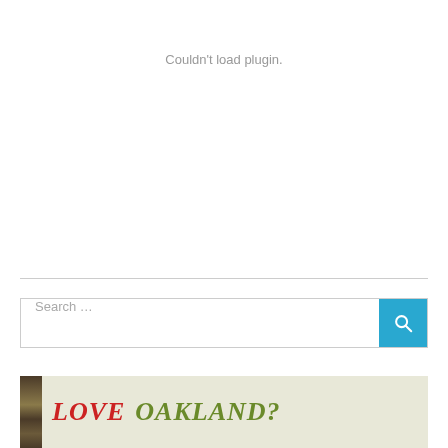Couldn't load plugin.
Search …
[Figure (illustration): Partial banner image showing a dark brown vertical bar stripe on the left and large italic bold text reading 'LOVE OAKLAND?' with LOVE in red and OAKLAND in olive green, on a light greenish-beige background.]